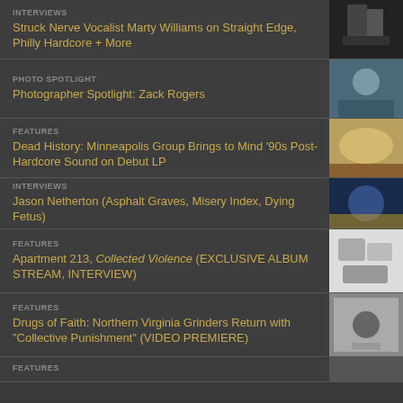INTERVIEWS
Struck Nerve Vocalist Marty Williams on Straight Edge, Philly Hardcore + More
PHOTO SPOTLIGHT
Photographer Spotlight: Zack Rogers
FEATURES
Dead History: Minneapolis Group Brings to Mind '90s Post-Hardcore Sound on Debut LP
INTERVIEWS
Jason Netherton (Asphalt Graves, Misery Index, Dying Fetus)
FEATURES
Apartment 213, Collected Violence (EXCLUSIVE ALBUM STREAM, INTERVIEW)
FEATURES
Drugs of Faith: Northern Virginia Grinders Return with "Collective Punishment" (VIDEO PREMIERE)
FEATURES